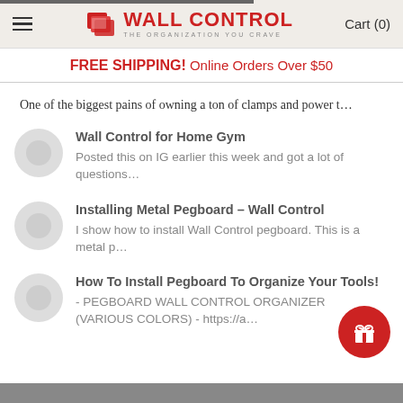WALL CONTROL - THE ORGANIZATION YOU CRAVE | Cart (0)
FREE SHIPPING! Online Orders Over $50
One of the biggest pains of owning a ton of clamps and power t...
Wall Control for Home Gym
Posted this on IG earlier this week and got a lot of questions...
Installing Metal Pegboard - Wall Control
I show how to install Wall Control pegboard. This is a metal p...
How To Install Pegboard To Organize Your Tools!
- PEGBOARD WALL CONTROL ORGANIZER (VARIOUS COLORS) - https://a...